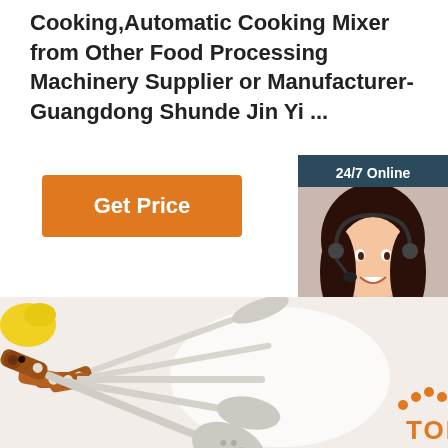Cooking,Automatic Cooking Mixer from Other Food Processing Machinery Supplier or Manufacturer-Guangdong Shunde Jin Yi ...
Get Price
[Figure (photo): Customer service agent with headset, smiling, with '24/7 Online' header and 'Click here for free chat! QUOTATION' button, dark teal sidebar]
[Figure (photo): Kitchen utensils with wooden handles (spatulas, ladles, skimmer) laid on white surface with yellow lemon in background. TOP badge visible bottom right.]